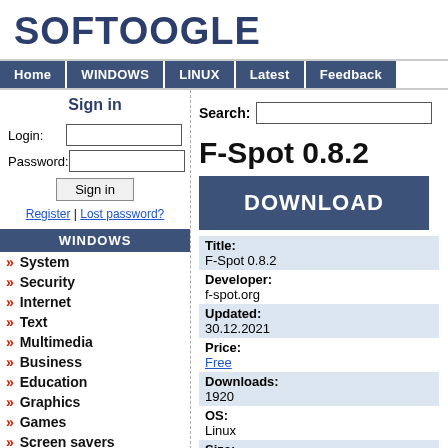SOFTOOGLE
Home | WINDOWS | LINUX | Latest | Feedback
Sign in
Login:
Password:
Sign in
Register | Lost password?
WINDOWS
» System
» Security
» Internet
» Text
» Multimedia
» Business
» Education
» Graphics
» Games
» Screen savers
» Drivers
Search:
F-Spot 0.8.2
DOWNLOAD
| Field | Value |
| --- | --- |
| Title: | F-Spot 0.8.2 |
| Developer: | f-spot.org |
| Updated: | 30.12.2021 |
| Price: | Free |
| Downloads: | 1920 |
| OS: | Linux |
| Size: | 1 Bytes |